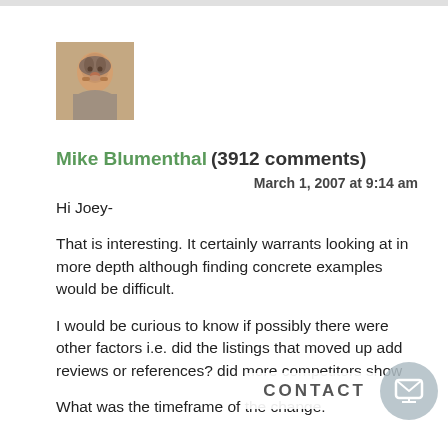[Figure (photo): Profile photo of Mike Blumenthal, a middle-aged man with gray hair and beard]
Mike Blumenthal (3912 comments)
March 1, 2007 at 9:14 am
Hi Joey-
That is interesting. It certainly warrants looking at in more depth although finding concrete examples would be difficult.
I would be curious to know if possibly there were other factors i.e. did the listings that moved up add reviews or references? did more competitors show
What was the timeframe of the change.